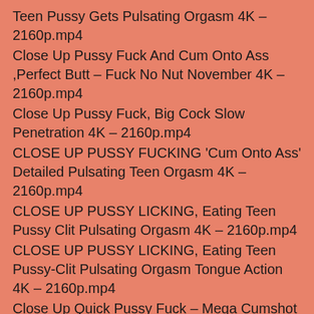Teen Pussy Gets Pulsating Orgasm 4K – 2160p.mp4
Close Up Pussy Fuck And Cum Onto Ass ,Perfect Butt – Fuck No Nut November 4K – 2160p.mp4
Close Up Pussy Fuck, Big Cock Slow Penetration 4K – 2160p.mp4
CLOSE UP PUSSY FUCKING 'Cum Onto Ass' Detailed Pulsating Teen Orgasm 4K – 2160p.mp4
CLOSE UP PUSSY LICKING, Eating Teen Pussy Clit Pulsating Orgasm 4K – 2160p.mp4
CLOSE UP PUSSY LICKING, Eating Teen Pussy-Clit Pulsating Orgasm Tongue Action 4K – 2160p.mp4
Close Up Quick Pussy Fuck – Mega Cumshot Onto Open Hole (Teen Orgasm ASMR) – 2160p.mp4
Close Up Reverse Cowgirl Perfect Tight Teen